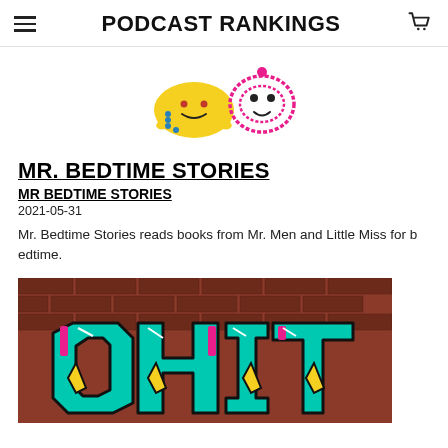PODCAST RANKINGS
[Figure (illustration): Cartoon illustration of two Mr. Men characters: a yellow blob character and a pink scribble character, in a childlike drawing style]
MR. BEDTIME STORIES
MR BEDTIME STORIES
2021-05-31
Mr. Bedtime Stories reads books from Mr. Men and Little Miss for bedtime.
[Figure (photo): Photo of graffiti art on a brick wall — colorful teal, yellow, and pink graffiti letters on a red brick wall background]